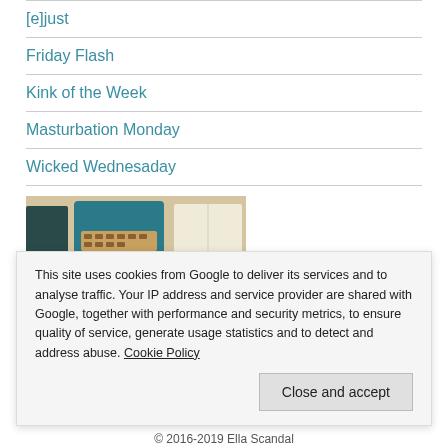[e]just
Friday Flash
Kink of the Week
Masturbation Monday
Wicked Wednesaday
[Figure (photo): Photo of a typewriter, notebooks, and paper on a wooden surface with text 'Official Selection' overlaid]
This site uses cookies from Google to deliver its services and to analyse traffic. Your IP address and service provider are shared with Google, together with performance and security metrics, to ensure quality of service, generate usage statistics and to detect and address abuse. Cookie Policy
© 2016-2019 Ella Scandal